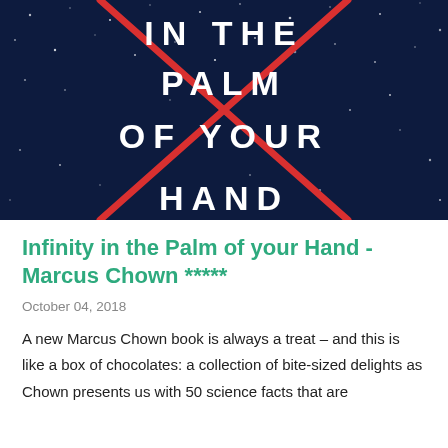[Figure (photo): Book cover of 'In the Palm of Your Hand' by Marcus Chown — dark navy starfield background with large white uppercase text reading IN THE PALM OF YOUR HAND, overlaid with a red ribbon/infinity-shaped curve crossing diagonally]
Infinity in the Palm of your Hand - Marcus Chown *****
October 04, 2018
A new Marcus Chown book is always a treat – and this is like a box of chocolates: a collection of bite-sized delights as Chown presents us with 50 science facts that are